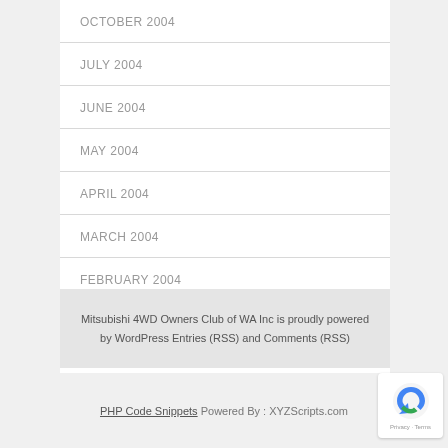OCTOBER 2004
JULY 2004
JUNE 2004
MAY 2004
APRIL 2004
MARCH 2004
FEBRUARY 2004
JANUARY 2004
Mitsubishi 4WD Owners Club of WA Inc is proudly powered by WordPress Entries (RSS) and Comments (RSS)
PHP Code Snippets Powered By : XYZScripts.com